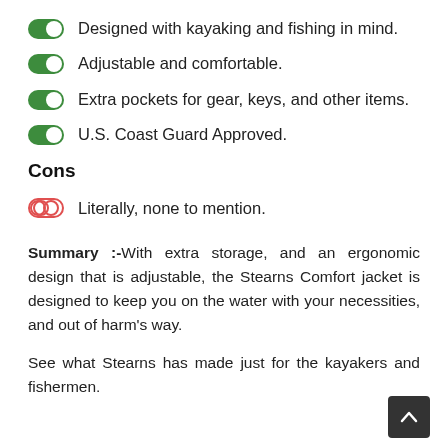Designed with kayaking and fishing in mind.
Adjustable and comfortable.
Extra pockets for gear, keys, and other items.
U.S. Coast Guard Approved.
Cons
Literally, none to mention.
Summary :-With extra storage, and an ergonomic design that is adjustable, the Stearns Comfort jacket is designed to keep you on the water with your necessities, and out of harm's way.
See what Stearns has made just for the kayakers and fishermen.